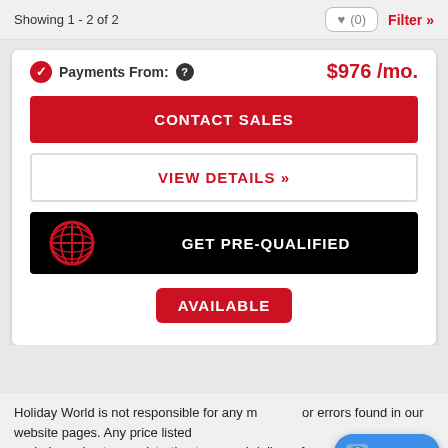Showing 1 - 2 of 2
Payments From: $976 /mo.
CONTACT SALES
VIEW DETAILS »
GET PRE-QUALIFIED
AVAILABLE
Holiday World is not responsible for any m... or errors found in our website pages. Any price listed excludes sales tax, registration tags, and delivery fees